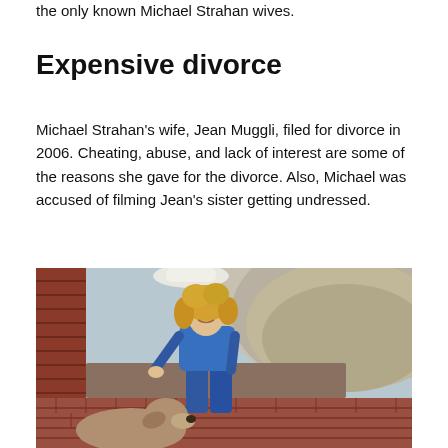the only known Michael Strahan wives.
Expensive divorce
Michael Strahan’s wife, Jean Muggli, filed for divorce in 2006. Cheating, abuse, and lack of interest are some of the reasons she gave for the divorce. Also, Michael was accused of filming Jean’s sister getting undressed.
[Figure (photo): A woman with curly blonde hair wearing a denim jacket and jeans, crouching down near a dog on a brick plaza. Behind her are curved stone steps and a brick wall with a white column.]